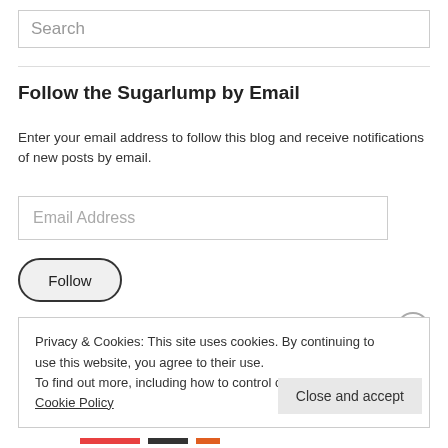Search
Follow the Sugarlump by Email
Enter your email address to follow this blog and receive notifications of new posts by email.
Email Address
Follow
Privacy & Cookies: This site uses cookies. By continuing to use this website, you agree to their use.
To find out more, including how to control cookies, see here: Cookie Policy
Close and accept